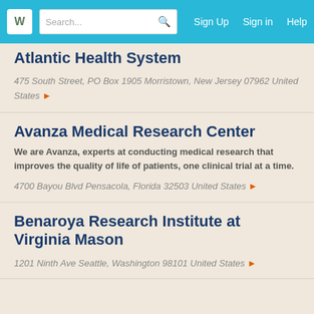Search... Sign Up Sign in Help
Atlantic Health System
475 South Street, PO Box 1905 Morristown, New Jersey 07962 United States
Avanza Medical Research Center
We are Avanza, experts at conducting medical research that improves the quality of life of patients, one clinical trial at a time.
4700 Bayou Blvd Pensacola, Florida 32503 United States
Benaroya Research Institute at Virginia Mason
1201 Ninth Ave Seattle, Washington 98101 United States